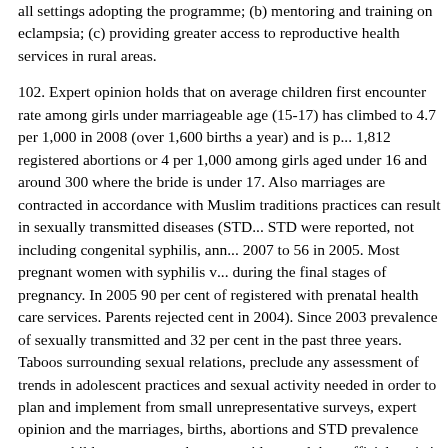all settings adopting the programme; (b) mentoring and training on eclampsia; (c) providing greater access to reproductive health services in rural areas.
102. Expert opinion holds that on average children first enter... rate among girls under marriageable age (15-17) has climbed to 4.7 per 1,000 in 2008 (over 1,600 births a year) and is p... 1,812 registered abortions or 4 per 1,000 among girls aged under 16 and around 300 where the bride is under 17. Also marriages are contracted in accordance with Muslim traditions practices can result in sexually transmitted diseases (STD... STD were reported, not including congenital syphilis, ann... 2007 to 56 in 2005. Most pregnant women with syphilis v... during the final stages of pregnancy. In 2005 90 per cent of... registered with prenatal health care services. Parents rejec... cent in 2004). Since 2003 prevalence of sexually transmi... and 32 per cent in the past three years. Taboos surroundin... sexual relations, preclude any assessment of trends in ado... practices and sexual activity needed in order to plan and i... from small unrepresentative surveys, expert opinion and t... marriages, births, abortions and STD prevalence among c... appears to be more widespread than official statistics sugg... the country's total number of schools), mainly in the capi... discussed. Such initiatives are particularly important in a... matters within the family. There is shortage of specialized...